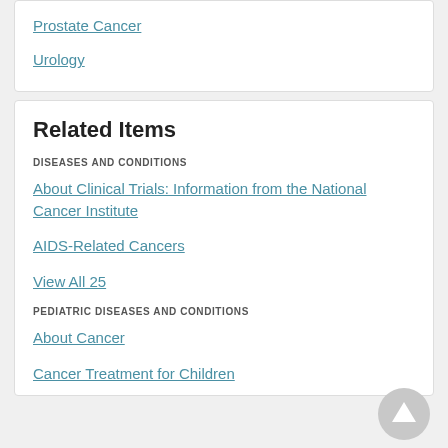Prostate Cancer
Urology
Related Items
DISEASES AND CONDITIONS
About Clinical Trials: Information from the National Cancer Institute
AIDS-Related Cancers
View All 25
PEDIATRIC DISEASES AND CONDITIONS
About Cancer
Cancer Treatment for Children